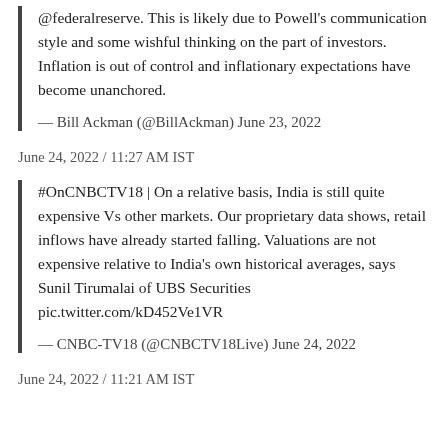@federalreserve. This is likely due to Powell’s communication style and some wishful thinking on the part of investors. Inflation is out of control and inflationary expectations have become unanchored.
— Bill Ackman (@BillAckman) June 23, 2022
June 24, 2022 / 11:27 AM IST
#OnCNBCTV18 | On a relative basis, India is still quite expensive Vs other markets. Our proprietary data shows, retail inflows have already started falling. Valuations are not expensive relative to India’s own historical averages, says Sunil Tirumalai of UBS Securities pic.twitter.com/kD452Ve1VR
— CNBC-TV18 (@CNBCTV18Live) June 24, 2022
June 24, 2022 / 11:21 AM IST